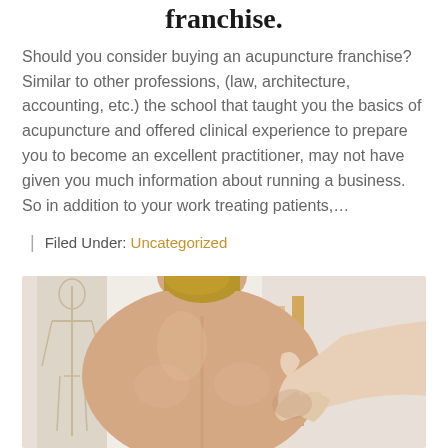franchise.
Should you consider buying an acupuncture franchise? Similar to other professions, (law, architecture, accounting, etc.) the school that taught you the basics of acupuncture and offered clinical experience to prepare you to become an excellent practitioner, may not have given you much information about running a business. So in addition to your work treating patients,...
| Filed Under: Uncategorized
[Figure (photo): Photo of a person from behind receiving a massage or acupuncture treatment on their back/neck area. A practitioner's hand is visible pressing on the shoulder area. Background shows a clinical setting with a skeleton model.]